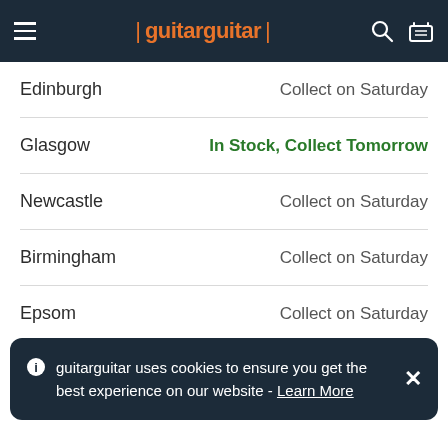guitarguitar
Edinburgh — Collect on Saturday
Glasgow — In Stock, Collect Tomorrow
Newcastle — Collect on Saturday
Birmingham — Collect on Saturday
Epsom — Collect on Saturday
guitarguitar uses cookies to ensure you get the best experience on our website - Learn More